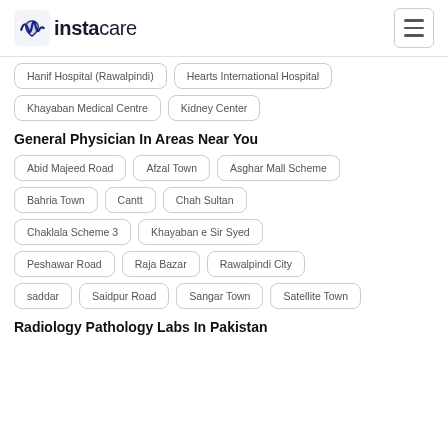instacare
Hanif Hospital (Rawalpindi)
Hearts International Hospital
Khayaban Medical Centre
Kidney Center
General Physician In Areas Near You
Abid Majeed Road
Afzal Town
Asghar Mall Scheme
Bahria Town
Cantt
Chah Sultan
Chaklala Scheme 3
Khayaban e Sir Syed
Peshawar Road
Raja Bazar
Rawalpindi City
saddar
Saidpur Road
Sangar Town
Satellite Town
Radiology Pathology Labs In Pakistan